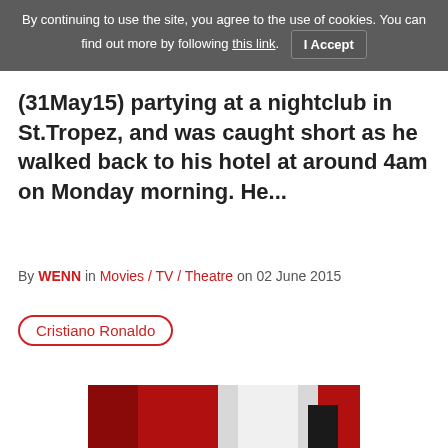By continuing to use the site, you agree to the use of cookies. You can find out more by following this link. I Accept
(31May15) partying at a nightclub in St.Tropez, and was caught short as he walked back to his hotel at around 4am on Monday morning. He...
By WENN in Movies / TV / Theatre on 02 June 2015
Cristiano Ronaldo
[Figure (photo): Portrait photo of a man with dark slicked-back hair and blue eyes, wearing dark clothing, photographed at a formal event with red and white background elements]